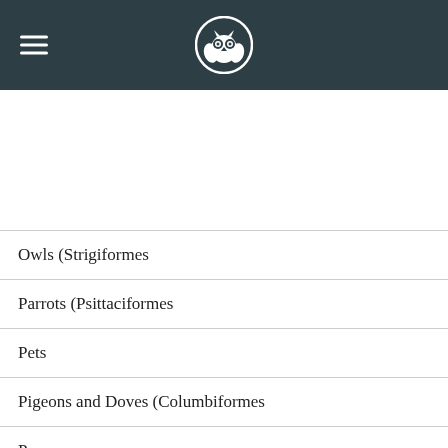Navigation header with owl logo and hamburger menu
Owls (Strigiformes
Parrots (Psittaciformes
Pets
Pigeons and Doves (Columbiformes
P...